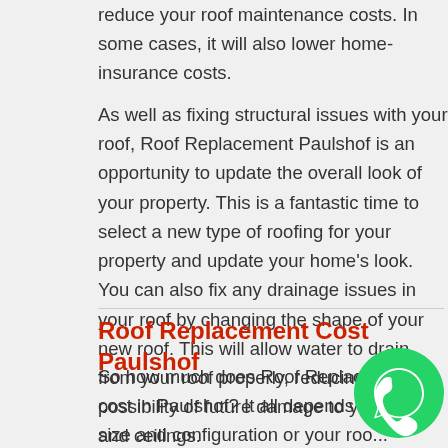reduce your roof maintenance costs. In some cases, it will also lower home-insurance costs.
As well as fixing structural issues with your roof, Roof Replacement Paulshof is an opportunity to update the overall look of your property. This is a fantastic time to select a new type of roofing for your property and update your home's look. You can also fix any drainage issues in your roof by changing the shape of your new roof. This will allow water to drain from your roof properly, reducing the possibility of future damage to your roof and ceilings.
Roof Replacement Cost Paulshof
So how much does Roof Replacement cost in Paulshof? It all depends on the size and configuration or your roo... roofing materials you choose. Other work may be... as well. Every job is different so our Roof Replacement
[Figure (illustration): WhatsApp phone icon — green circle with white handset symbol, bottom right corner]